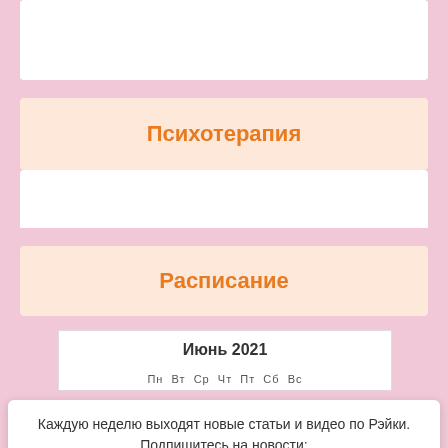Психотерапия
Расписание
Июнь 2021
Каждую неделю выходят новые статьи и видео по Рэйки. Подпишитесь на новости:
E-mail:*
Получать!
Нажимая на кнопку, вы даете согласие на обработку персональных данных